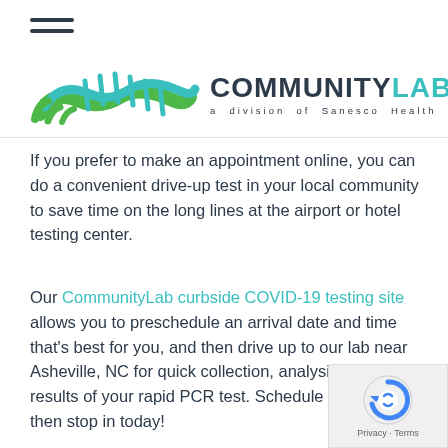≡ (hamburger menu)
[Figure (logo): CommunityLab logo - a division of Sanesco Health, with green/teal DNA helix hand icon]
If you prefer to make an appointment online, you can do a convenient drive-up test in your local community to save time on the long lines at the airport or hotel testing center.
Our CommunityLab curbside COVID-19 testing site allows you to preschedule an arrival date and time that's best for you, and then drive up to our lab near Asheville, NC for quick collection, analysis, and results of your rapid PCR test. Schedule online and then stop in today!
[Figure (logo): Google reCAPTCHA badge with Privacy - Terms text]